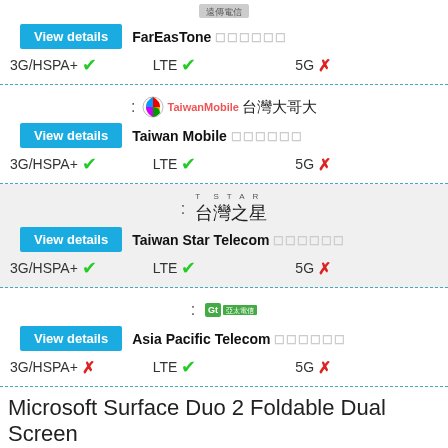[Figure (logo): FarEasTone logo (partial, top)]
View details   FarEasTone ☆☆☆☆☆☆
3G/HSPA+ ✓   LTE ✓   5G ✗
[Figure (logo): Taiwan Mobile logo with colorful circle icon and Chinese text 台灣大哥大]
View details   Taiwan Mobile ☆☆☆☆☆☆
3G/HSPA+ ✓   LTE ✓   5G ✗
[Figure (logo): T STAR logo with Chinese text 台灣之星]
View details   Taiwan Star Telecom ☆☆☆☆☆☆
3G/HSPA+ ✓   LTE ✓   5G ✗
[Figure (logo): Gt Asia Pacific Telecom logo]
View details   Asia Pacific Telecom ☆☆☆☆☆☆
3G/HSPA+ ✗   LTE ✓   5G ✗
Microsoft Surface Duo 2 Foldable Dual Screen